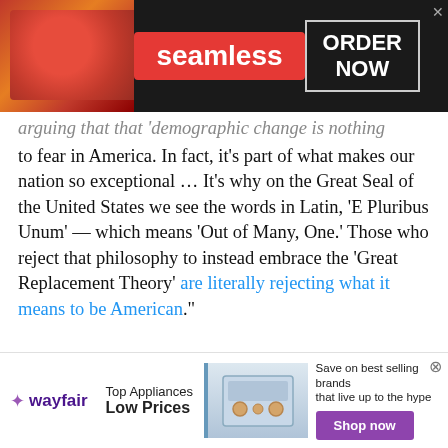[Figure (photo): Seamless food delivery advertisement banner at top of page showing pizza on left, red Seamless logo in center, and 'ORDER NOW' button in bordered box on right, all on dark background]
arguing that that 'demographic change is nothing to fear in America. In fact, it's part of what makes our nation so exceptional … It's why on the Great Seal of the United States we see the words in Latin, 'E Pluribus Unum' — which means 'Out of Many, One.' Those who reject that philosophy to instead embrace the 'Great Replacement Theory' are literally rejecting what it means to be American."
In the wake of a horrific event like the Buffalo massacre, people understandably search for solutions, noted Nicole Hemmer, who observed
[Figure (photo): Wayfair advertisement banner at bottom of page with wayfair logo, 'Top Appliances Low Prices' text, appliance image in center, and 'Save on best selling brands that live up to the hype' with purple 'Shop now' button]